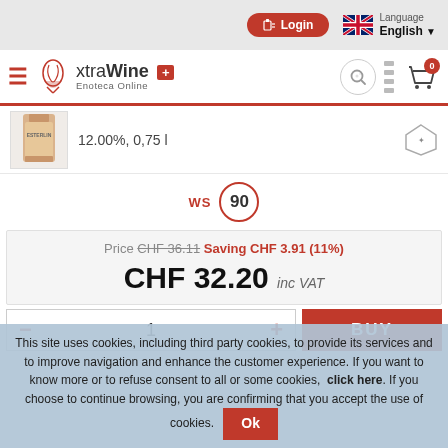Login | Language English
[Figure (logo): xtraWine Enoteca Online logo with Swiss cross]
12.00%, 0,75 l
WS 90
Price CHF 36.11 Saving CHF 3.91 (11%)
CHF 32.20 inc VAT
1 BUY
This site uses cookies, including third party cookies, to provide its services and to improve navigation and enhance the customer experience. If you want to know more or to refuse consent to all or some cookies, click here. If you choose to continue browsing, you are confirming that you accept the use of cookies. Ok